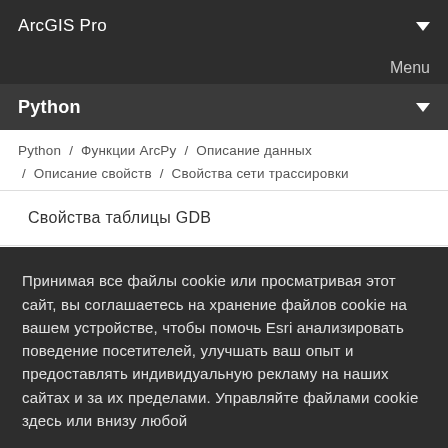ArcGIS Pro
Menu
Python
Python / Функции ArcPy / Описание данных / Описание свойств / Свойства сети трассировки
Свойства таблицы GDB
Свойства геометрической сети
Свойства геостатистического слоя
Принимая все файлы cookie или просматривая этот сайт, вы соглашаетесь на хранение файлов cookie на вашем устройстве, чтобы помочь Esri анализировать поведение посетителей, улучшать ваш опыт и предоставлять индивидуальную рекламу на наших сайтах и за их пределами. Управляйте файлами cookie здесь или внизу любой